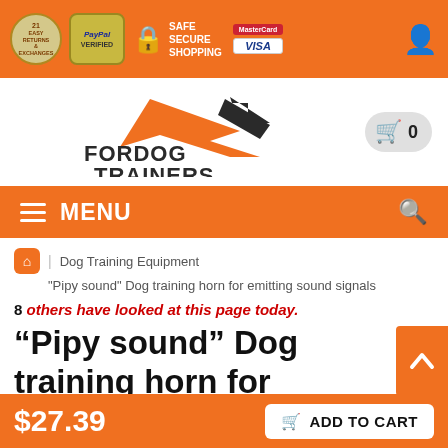[Figure (screenshot): Top orange header bar with Easy Returns badge, PayPal Verified badge, Safe Secure Shopping lock icon, MasterCard and Visa logos, and user account icon]
[Figure (logo): ForDog Trainers logo with orange and dark geometric dog shape and text FORDOG TRAINERS]
MENU (navigation bar with hamburger icon and search icon)
Dog Training Equipment
"Pipy sound" Dog training horn for emitting sound signals
8 others have looked at this page today.
“Pipy sound” Dog training horn for emitting sound
$27.39  ADD TO CART